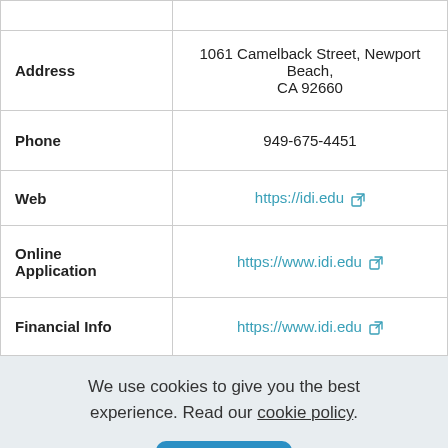| Field | Value |
| --- | --- |
|  |  |
| Address | 1061 Camelback Street, Newport Beach, CA 92660 |
| Phone | 949-675-4451 |
| Web | https://idi.edu |
| Online Application | https://www.idi.edu |
| Financial Info | https://www.idi.edu |
We use cookies to give you the best experience. Read our cookie policy.
Agree